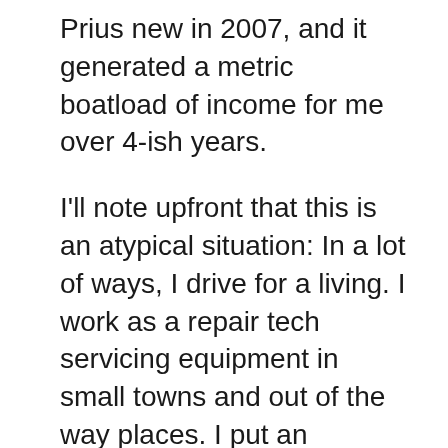Prius new in 2007, and it generated a metric boatload of income for me over 4-ish years.
I'll note upfront that this is an atypical situation: In a lot of ways, I drive for a living. I work as a repair tech servicing equipment in small towns and out of the way places. I put an average of 5000km/month for work, which is 60,000km/year, or in USican, somewhere north of 36,000 miles per year, with personal driving on top of that. So, not the average.
I was being paid a vehicle